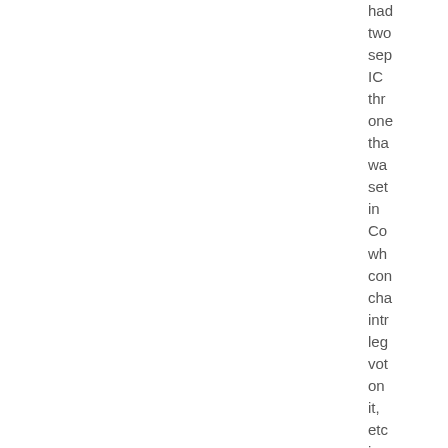had two sep IC thr one tha wa set in Co wh con cha intr leg vot on it, etc in the Ho and Se